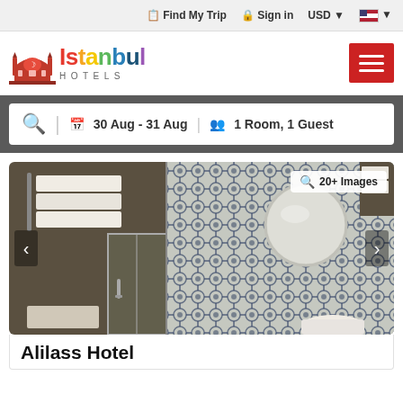Find My Trip   Sign in   USD   [US Flag]
[Figure (logo): Istanbul Hotels logo with mosque silhouette and colorful text]
30 Aug - 31 Aug   1 Room, 1 Guest
[Figure (photo): Hotel bathroom photo showing patterned blue tile wall, mirror, white towels, and glass shower door. Badge showing 20+ Images.]
Alilass Hotel